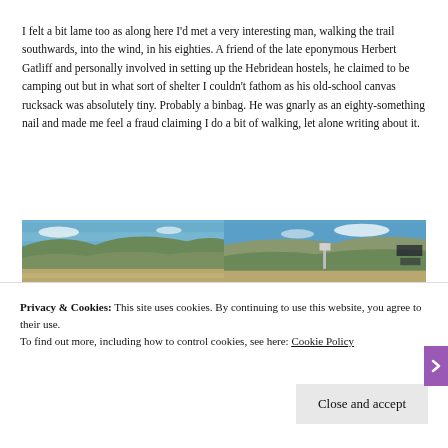I felt a bit lame too as along here I'd met a very interesting man, walking the trail southwards, into the wind, in his eighties. A friend of the late eponymous Herbert Gatliff and personally involved in setting up the Hebridean hostels, he claimed to be camping out but in what sort of shelter I couldn't fathom as his old-school canvas rucksack was absolutely tiny. Probably a binbag. He was gnarly as an eighty-something nail and made me feel a fraud claiming I do a bit of walking, let alone writing about it.
[Figure (photo): Two side-by-side landscape photographs showing open moorland/highland terrain under a blue sky with hills in the background. Left photo shows a wide valley view; right photo shows similar terrain with what appears to be a signpost.]
Privacy & Cookies: This site uses cookies. By continuing to use this website, you agree to their use.
To find out more, including how to control cookies, see here: Cookie Policy